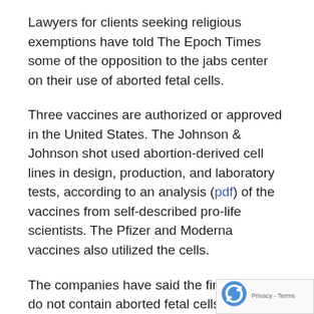Lawyers for clients seeking religious exemptions have told The Epoch Times some of the opposition to the jabs center on their use of aborted fetal cells.
Three vaccines are authorized or approved in the United States. The Johnson & Johnson shot used abortion-derived cell lines in design, production, and laboratory tests, according to an analysis (pdf) of the vaccines from self-described pro-life scientists. The Pfizer and Moderna vaccines also utilized the cells.
The companies have said the final products do not contain aborted fetal cells.
Broglio said the testing with the cells done for the Pfizer and Moderna vaccines has long been considered not sinful because of its remote link “with evil.” However, said the Johnson & Johnson shot is “more problem